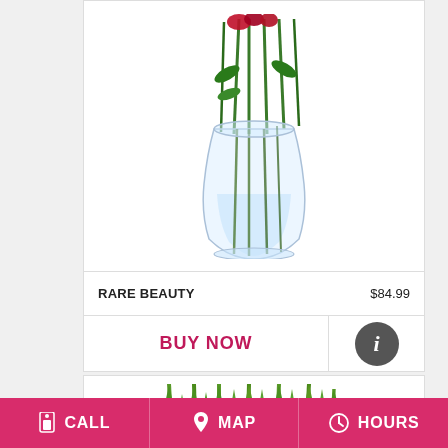[Figure (photo): Flower arrangement in a clear glass vase with red and green flowers/stems]
RARE BEAUTY    $84.99
BUY NOW
[Figure (photo): White gladiolus flower arrangement with green stems]
CALL   MAP   HOURS